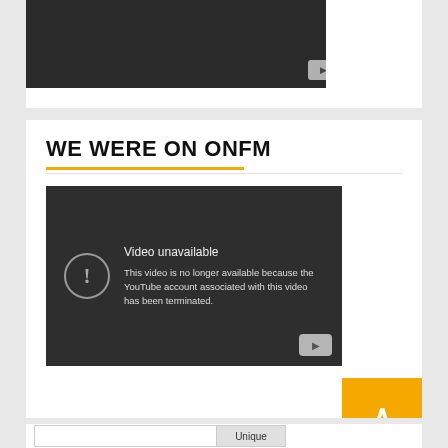[Figure (screenshot): Partial dark video player with YouTube play button visible at bottom right, cut off at top]
WE WERE ON ONFM
[Figure (screenshot): YouTube video unavailable error screen showing exclamation icon, text 'Video unavailable. This video is no longer available because the YouTube account associated with this video has been terminated.' with YouTube play button at bottom right]
[Figure (other): Amber/gold scroll-to-top button with upward chevron arrow]
Unique